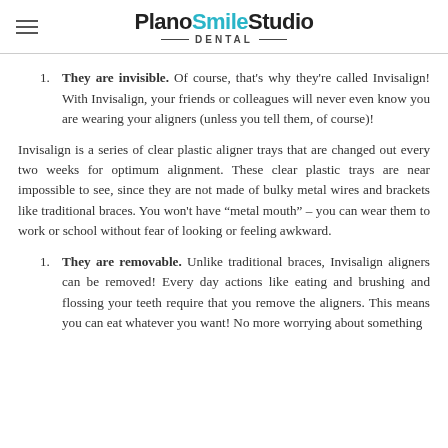PlanoSmileStudio DENTAL
They are invisible. Of course, that's why they're called Invisalign! With Invisalign, your friends or colleagues will never even know you are wearing your aligners (unless you tell them, of course)!
Invisalign is a series of clear plastic aligner trays that are changed out every two weeks for optimum alignment. These clear plastic trays are near impossible to see, since they are not made of bulky metal wires and brackets like traditional braces. You won't have “metal mouth” – you can wear them to work or school without fear of looking or feeling awkward.
They are removable. Unlike traditional braces, Invisalign aligners can be removed! Every day actions like eating and brushing and flossing your teeth require that you remove the aligners. This means you can eat whatever you want! No more worrying about something